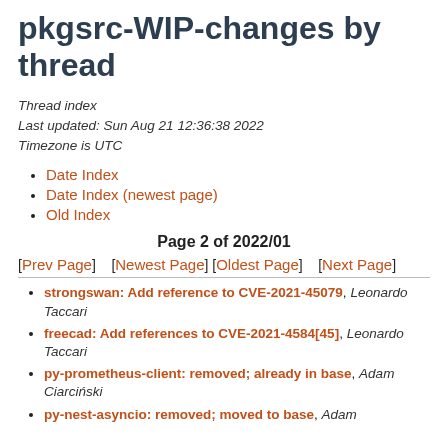pkgsrc-WIP-changes by thread
Thread index
Last updated: Sun Aug 21 12:36:38 2022
Timezone is UTC
Date Index
Date Index (newest page)
Old Index
Page 2 of 2022/01
[Prev Page]    [Newest Page] [Oldest Page]    [Next Page]
strongswan: Add reference to CVE-2021-45079, Leonardo Taccari
freecad: Add references to CVE-2021-4584[45], Leonardo Taccari
py-prometheus-client: removed; already in base, Adam Ciarciński
py-nest-asyncio: removed; moved to base, Adam